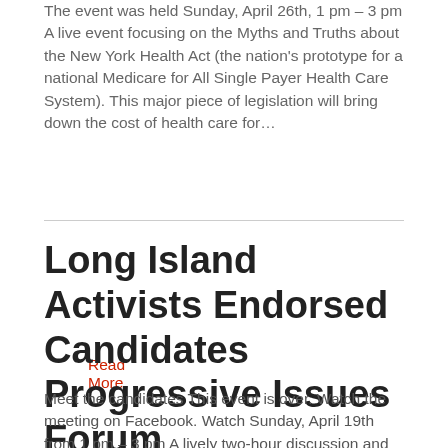The event was held Sunday, April 26th, 1 pm – 3 pm A live event focusing on the Myths and Truths about the New York Health Act (the nation's prototype for a national Medicare for All Single Payer Health Care System). This major piece of legislation will bring down the cost of health care for…
Read More
Long Island Activists Endorsed Candidates Progressive Issues Forum
Meet the candidates This event is over. Watch the meeting on Facebook. Watch Sunday, April 19th from 1 pm – 3 pm A lively two-hour discussion and Q&A on three important topics: MODERATOR: Robert Buonaspina – Long Island Activists Steering Committee CHAT MODERATOR: Steve Martinez – Long